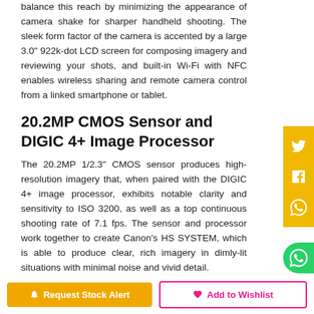balance this reach by minimizing the appearance of camera shake for sharper handheld shooting. The sleek form factor of the camera is accented by a large 3.0" 922k-dot LCD screen for composing imagery and reviewing your shots, and built-in Wi-Fi with NFC enables wireless sharing and remote camera control from a linked smartphone or tablet.
20.2MP CMOS Sensor and DIGIC 4+ Image Processor
The 20.2MP 1/2.3" CMOS sensor produces high-resolution imagery that, when paired with the DIGIC 4+ image processor, exhibits notable clarity and sensitivity to ISO 3200, as well as a top continuous shooting rate of 7.1 fps. The sensor and processor work together to create Canon's HS SYSTEM, which is able to produce clear, rich imagery in dimly-lit situations with minimal noise and vivid detail.
Beyond still image recording, the SX620 HS is also capable of recording Full HD 1080p video at 30 fps, which is easily accessible via a dedicated movie button.